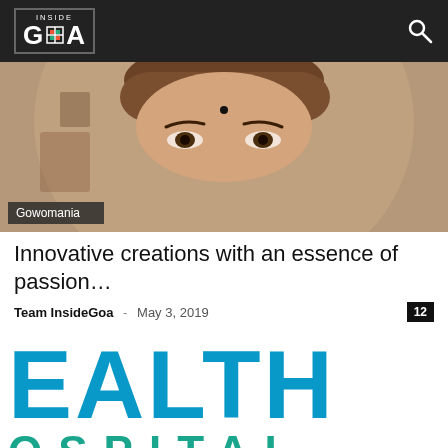Inside Goa
[Figure (photo): Close-up photo of a woman's face with a bindi, partial view showing eyes and forehead, warm brownish background. Category tag 'Gowomania' overlaid at bottom left.]
Innovative creations with an essence of passion…
Team InsideGoa - May 3, 2019  12
[Figure (logo): Partial hospital logo showing 'EALTH' in large bold blue letters and 'OSPITAL' in teal spaced letters below, cut off on left side.]